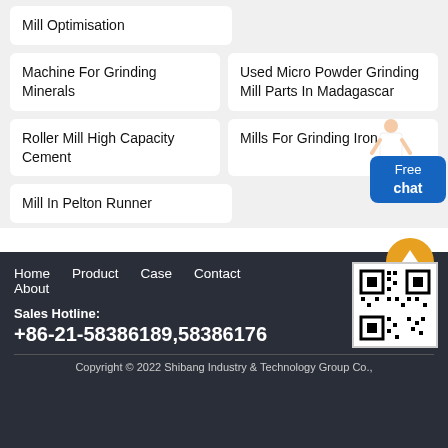Mill Optimisation
Machine For Grinding Minerals
Used Micro Powder Grinding Mill Parts In Madagascar
Roller Mill High Capacity Cement
Mills For Grinding Iron
Mill In Pelton Runner
Home  Product  Case  Contact  About
Sales Hotline:
+86-21-58386189,58386176
Copyright © 2022 Shibang Industry & Technology Group Co.,